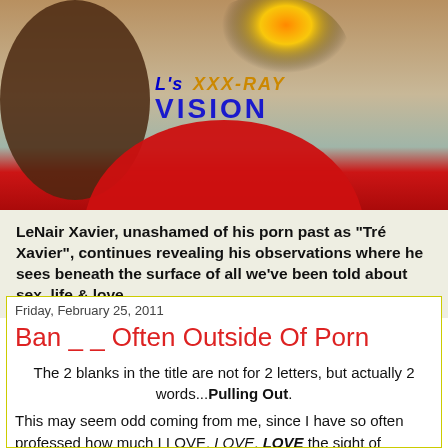[Figure (photo): Blog header banner showing 'L's XXX-RAY VISION' title in stylized text with a person in the left area, warm sunset colors and red circular element at bottom]
LeNair Xavier, unashamed of his porn past as "Tré Xavier", continues revealing his observations where he sees beneath the surface of all we've been told about sex, life & love.
Friday, February 25, 2011
Ban _ _ Often Outside Of Porn
The 2 blanks in the title are not for 2 letters, but actually 2 words...Pulling Out.
This may seem odd coming from me, since I have so often professed how much I LOVE, LOVE, LOVE the sight of healthy natural fluids like cum and piss shooting out of a man's dick. I even wrote a blog entry about it for my "Getting Out The Kinks" category. It is for that reason that I had to